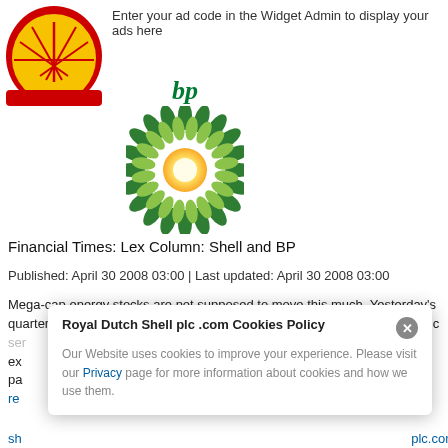[Figure (logo): Shell oil company logo - red and yellow pecten shell symbol with red border]
Enter your ad code in the Widget Admin to display your ads here
[Figure (logo): BP logo - green sunflower/helios symbol with 'bp' text in green above it]
Financial Times: Lex Column: Shell and BP
Published: April 30 2008 03:00 | Last updated: April 30 2008 03:00
Mega-cap energy stocks are not supposed to move this much. Yesterday's quarter figures from BP and Shell – comfortably above consensus in both c... waiting exc... cent o pa... rea...
Royal Dutch Shell plc .com Cookies Policy
Our Website uses cookies to improve your experience. Please visit our Privacy page for more information about cookies and how we use them.
sh... plc.com